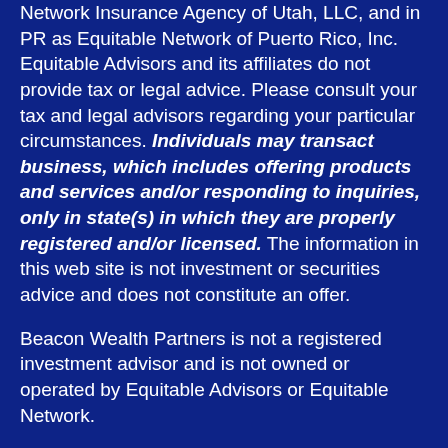Network Insurance Agency of Utah, LLC, and in PR as Equitable Network of Puerto Rico, Inc. Equitable Advisors and its affiliates do not provide tax or legal advice. Please consult your tax and legal advisors regarding your particular circumstances. Individuals may transact business, which includes offering products and services and/or responding to inquiries, only in state(s) in which they are properly registered and/or licensed. The information in this web site is not investment or securities advice and does not constitute an offer.
Beacon Wealth Partners is not a registered investment advisor and is not owned or operated by Equitable Advisors or Equitable Network.
For more information about Equitable Advisors, LLC you may visit equitable.com/crs to review the firm's Relationship Summary for Retail